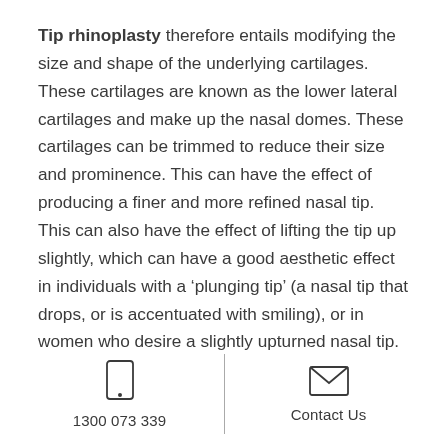Tip rhinoplasty therefore entails modifying the size and shape of the underlying cartilages. These cartilages are known as the lower lateral cartilages and make up the nasal domes. These cartilages can be trimmed to reduce their size and prominence. This can have the effect of producing a finer and more refined nasal tip. This can also have the effect of lifting the tip up slightly, which can have a good aesthetic effect in individuals with a ‘plunging tip’ (a nasal tip that drops, or is accentuated with smiling), or in women who desire a slightly upturned nasal tip.
1300 073 339 | Contact Us